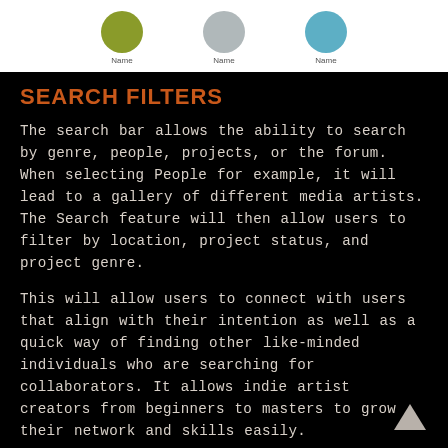[Figure (illustration): Three colored circles (olive, gray, blue) each labeled 'Name' below them, on a white background strip at the top of the page.]
SEARCH FILTERS
The search bar allows the ability to search by genre, people, projects, or the forum. When selecting People for example, it will lead to a gallery of different media artists. The Search feature will then allow users to filter by location, project status, and project genre.
This will allow users to connect with users that align with their intention as well as a quick way of finding other like-minded individuals who are searching for collaborators. It allows indie artist creators from beginners to masters to grow their network and skills easily.